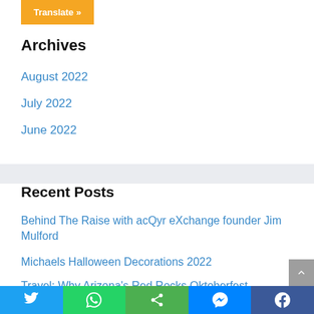Translate »
Archives
August 2022
July 2022
June 2022
Recent Posts
Behind The Raise with acQyr eXchange founder Jim Mulford
Michaels Halloween Decorations 2022
Travel: Why Arizona's Red Rocks Oktoberfest